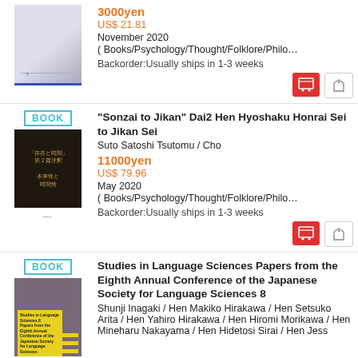3000yen
US$ 21.81
November 2020
( Books/Psychology/Thought/Folklore/Philo…
Backorder:Usually ships in 1-3 weeks
BOOK
"Sonzai to Jikan" Dai2 Hen Hyoshaku Honrai Sei to Jikan Sei
Suto Satoshi Tsutomu / Cho
11000yen
US$ 79.96
May 2020
( Books/Psychology/Thought/Folklore/Philo…
Backorder:Usually ships in 1-3 weeks
BOOK
Studies in Language Sciences Papers from the Eighth Annual Conference of the Japanese Society for Language Sciences 8
Shunji Inagaki / Hen Makiko Hirakawa / Hen Setsuko Arita / Hen Yahiro Hirakawa / Hen Hiromi Morikawa / Hen Mineharu Nakayama / Hen Hidetosi Sirai / Hen Jess